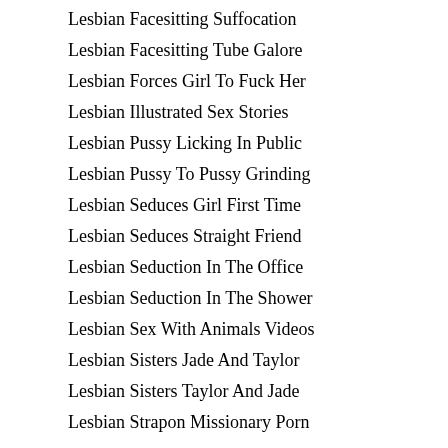Lesbian Facesitting Suffocation
Lesbian Facesitting Tube Galore
Lesbian Forces Girl To Fuck Her
Lesbian Illustrated Sex Stories
Lesbian Pussy Licking In Public
Lesbian Pussy To Pussy Grinding
Lesbian Seduces Girl First Time
Lesbian Seduces Straight Friend
Lesbian Seduction In The Office
Lesbian Seduction In The Shower
Lesbian Sex With Animals Videos
Lesbian Sisters Jade And Taylor
Lesbian Sisters Taylor And Jade
Lesbian Strapon Missionary Porn